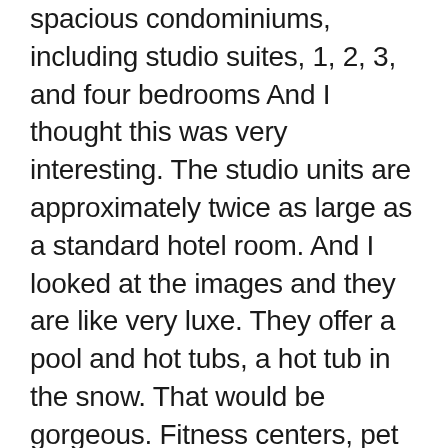spacious condominiums, including studio suites, 1, 2, 3, and four bedrooms And I thought this was very interesting. The studio units are approximately twice as large as a standard hotel room. And I looked at the images and they are like very luxe. They offer a pool and hot tubs, a hot tub in the snow. That would be gorgeous. Fitness centers, pet Friendly condos, slope side, ski valet, In room, dining, and family friendly amenities. And at the time of this recording, there are 965 reviews for Antlers At Vail on TripAdvisor with six hundred and seventy eight, five star reviews and ten one star reviews. So with all of that background info, let's get into this versus battle, Henny.